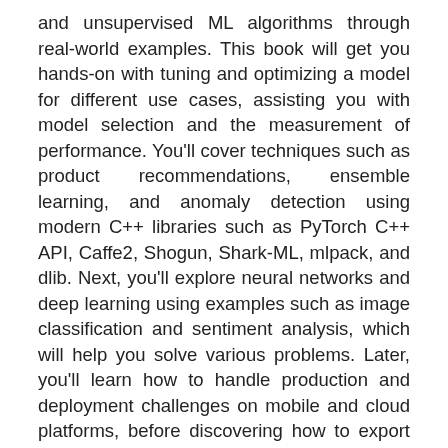and unsupervised ML algorithms through real-world examples. This book will get you hands-on with tuning and optimizing a model for different use cases, assisting you with model selection and the measurement of performance. You'll cover techniques such as product recommendations, ensemble learning, and anomaly detection using modern C++ libraries such as PyTorch C++ API, Caffe2, Shogun, Shark-ML, mlpack, and dlib. Next, you'll explore neural networks and deep learning using examples such as image classification and sentiment analysis, which will help you solve various problems. Later, you'll learn how to handle production and deployment challenges on mobile and cloud platforms, before discovering how to export and import models using the ONNX format. By the end of this C++ book, you will have real-world machine